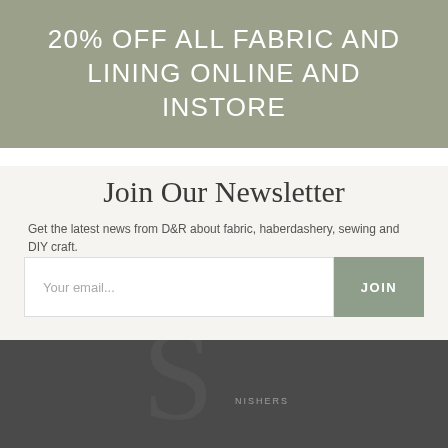20% OFF ALL FABRIC AND LINING ONLINE AND INSTORE
Join Our Newsletter
Get the latest news from D&R about fabric, haberdashery, sewing and DIY craft.
Your email...
JOIN
[Figure (logo): Large stylized letter S with partial arc text reading NISHERS, part of a company logo on dark grey background]